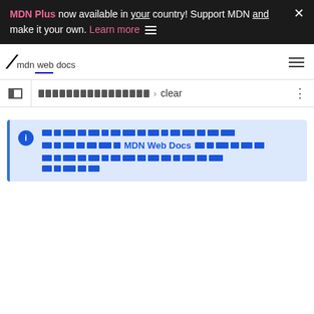MDN Plus now available in your country! Support MDN and make it your own. Learn more
[Figure (logo): MDN Web Docs logo — stylized M slash followed by 'mdn web docs' text with blue underline]
clear (breadcrumb navigation)
Callout note box with info icon, redacted text referencing MDN Web Docs